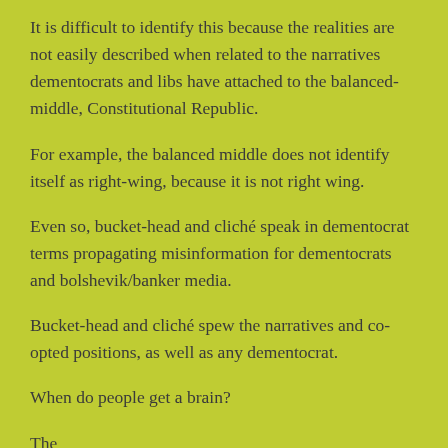It is difficult to identify this because the realities are not easily described when related to the narratives dementocrats and libs have attached to the balanced-middle, Constitutional Republic.
For example, the balanced middle does not identify itself as right-wing, because it is not right wing.
Even so, bucket-head and cliché speak in dementocrat terms propagating misinformation for dementocrats and bolshevik/banker media.
Bucket-head and cliché spew the narratives and co-opted positions, as well as any dementocrat.
When do people get a brain?
The elements at the bottom of the page continuation of text...